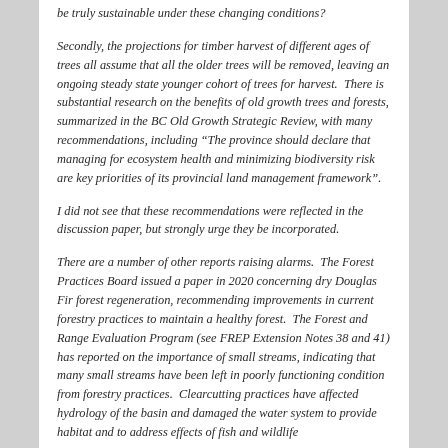be truly sustainable under these changing conditions?
Secondly, the projections for timber harvest of different ages of trees all assume that all the older trees will be removed, leaving an ongoing steady state younger cohort of trees for harvest.  There is substantial research on the benefits of old growth trees and forests, summarized in the BC Old Growth Strategic Review, with many recommendations, including "The province should declare that managing for ecosystem health and minimizing biodiversity risk are key priorities of its provincial land management framework".
I did not see that these recommendations were reflected in the discussion paper, but strongly urge they be incorporated.
There are a number of other reports raising alarms.  The Forest Practices Board issued a paper in 2020 concerning dry Douglas Fir forest regeneration, recommending improvements in current forestry practices to maintain a healthy forest.  The Forest and Range Evaluation Program (see FREP Extension Notes 38 and 41) has reported on the importance of small streams, indicating that many small streams have been left in poorly functioning condition from forestry practices.  Clearcutting practices have affected hydrology of the basin and damaged the water system to provide habitat and to address effects of fish and wildlife